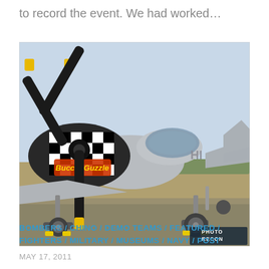to record the event. We had worked…
[Figure (photo): Front view of a P-51 Mustang warbird aircraft named 'Buccin' on a tarmac. The nose has a black and white checkered pattern with yellow tips on the propeller. The aircraft is silver/polished aluminum. A 'PHOTO RECON' watermark appears in the lower right corner.]
BOMBERS / CHINO / DEMO TEAMS / FEATURED / FIGHTERS / MILITARY / MUSEUMS / NAVY / POST
MAY 17, 2011